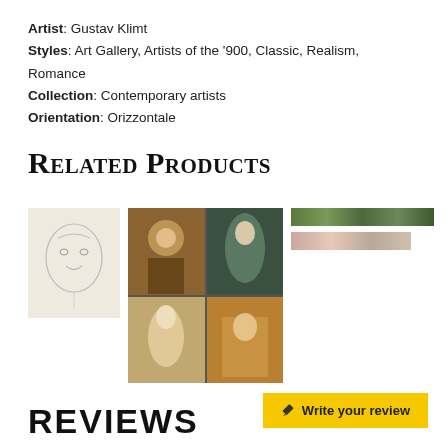Artist: Gustav Klimt
Styles: Art Gallery, Artists of the '900, Classic, Realism, Romance
Collection: Contemporary artists
Orientation: Orizzontale
Related products
[Figure (photo): Four related product images in a row: a pencil sketch of a face, a 2x2 grid collage of Klimt paintings (gold/blue figures), a narrow horizontal strip with green/teal texture, and a narrow horizontal strip with pink/beige texture.]
REVIEWS
[Figure (other): Yellow button with pencil icon: 'Write your review']